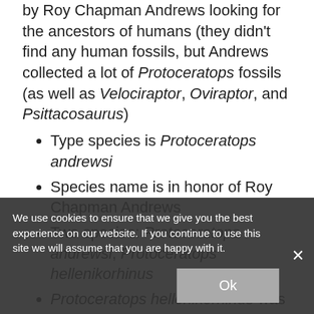by Roy Chapman Andrews looking for the ancestors of humans (they didn't find any human fossils, but Andrews collected a lot of Protoceratops fossils (as well as Velociraptor, Oviraptor, and Psittacosaurus)
Type species is Protoceratops andrewsi
Species name is in honor of Roy Chapman Andrews
Two species: Protoceratops andrewsi, Protoceratops hellenikorhinus
Protoceratops hellenikorhinus was named in 2001. It lived around the same time and place as Protoceratops andrewsi, but it had a slightly different frill…lot larger. Also had small nasal horns and no teeth at the…snout
Teresa Marya…lszka Osmólska described another species, Protoceratops…
We use cookies to ensure that we give you the best experience on our website. If you continue to use this site we will assume that you are happy with it.